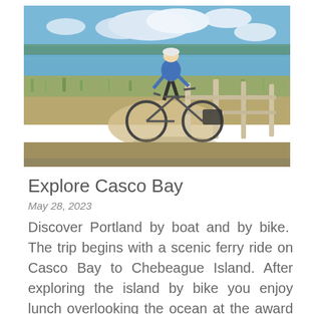[Figure (photo): A person in a blue cycling jersey, helmet, and shorts standing beside a bicycle near a wooden fence, with a body of water, grassy shore, and cloudy sky in the background.]
Explore Casco Bay
May 28, 2023
Discover Portland by boat and by bike.  The trip begins with a scenic ferry ride on Casco Bay to Chebeague Island. After exploring the island by bike you enjoy lunch overlooking the ocean at the award winning Chebeague Island Inn. After